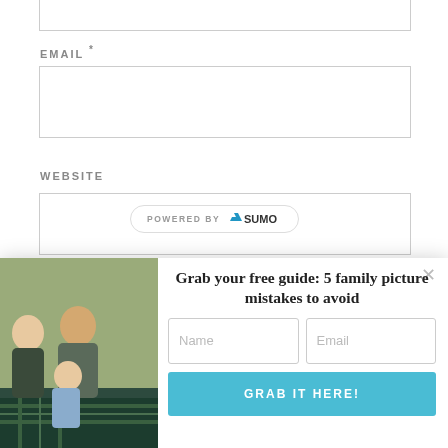EMAIL *
WEBSITE
[Figure (screenshot): POWERED BY SUMO pill/badge]
[Figure (photo): Family photo showing woman, man, and young child sitting together on a blanket outdoors]
Grab your free guide: 5 family picture mistakes to avoid
Name
Email
GRAB IT HERE!